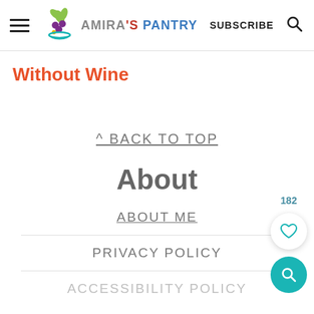Amira's Pantry — SUBSCRIBE
Without Wine
^ BACK TO TOP
About
ABOUT ME
PRIVACY POLICY
ACCESSIBILITY POLICY